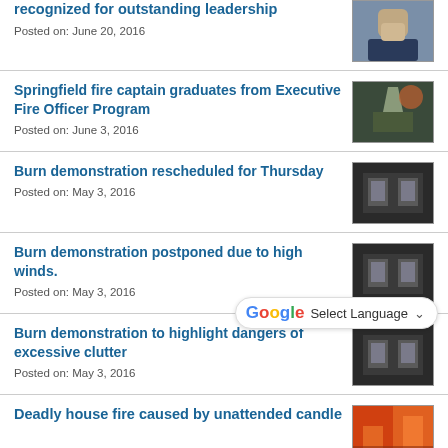recognized for outstanding leadership
Posted on: June 20, 2016
Springfield fire captain graduates from Executive Fire Officer Program
Posted on: June 3, 2016
Burn demonstration rescheduled for Thursday
Posted on: May 3, 2016
Burn demonstration postponed due to high winds.
Posted on: May 3, 2016
Burn demonstration to highlight dangers of excessive clutter
Posted on: May 3, 2016
Deadly house fire caused by unattended candle